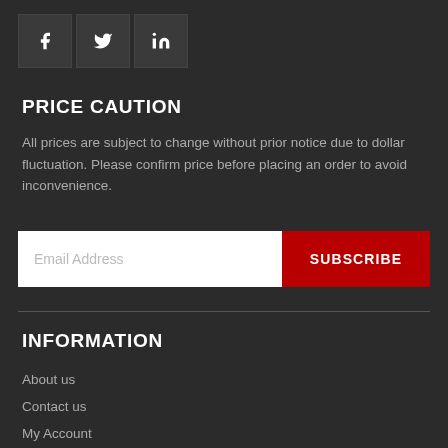[Figure (other): Social media icons row: Facebook, Twitter, LinkedIn]
PRICE CAUTION
All prices are subject to change without prior notice due to dollar fluctuation. Please confirm price before placing an order to avoid inconvenience.
[Figure (other): Email subscription form with Email Address input field and SUBSCRIBE button]
INFORMATION
About us
Contact us
My Account